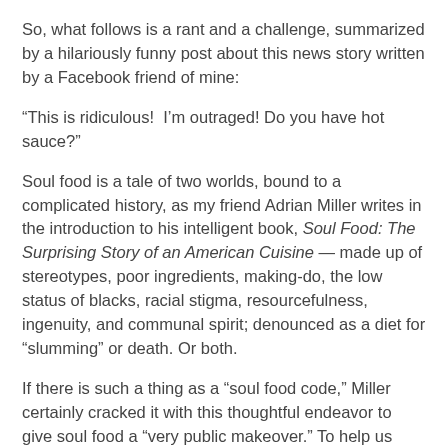So, what follows is a rant and a challenge, summarized by a hilariously funny post about this news story written by a Facebook friend of mine:
“This is ridiculous!  I’m outraged! Do you have hot sauce?”
Soul food is a tale of two worlds, bound to a complicated history, as my friend Adrian Miller writes in the introduction to his intelligent book, Soul Food: The Surprising Story of an American Cuisine — made up of stereotypes, poor ingredients, making-do, the low status of blacks, racial stigma, resourcefulness, ingenuity, and communal spirit; denounced as a diet for “slumming” or death. Or both.
If there is such a thing as a “soul food code,” Miller certainly cracked it with this thoughtful endeavor to give soul food a “very public makeover.” To help us think differently about soul food, the writer, attorney